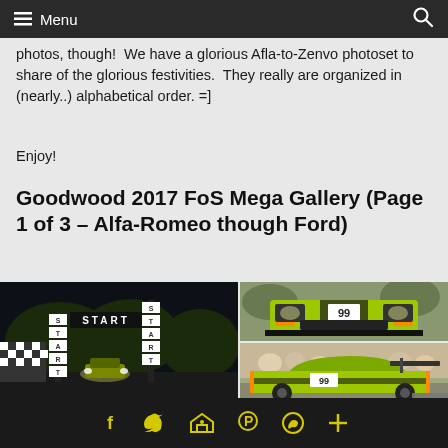Menu
photos, though!  We have a glorious Afla-to-Zenvo photoset to share of the glorious festivities.  They really are organized in (nearly..) alphabetical order. =]
Enjoy!
Goodwood 2017 FoS Mega Gallery (Page 1 of 3 – Alfa-Romeo though Ford)
[Figure (photo): Night shot of Goodwood Festival of Speed start line with illuminated START banners and a racing car at the line]
[Figure (photo): Front view of lime green Aston Martin Vulcan AMR race car on track]
[Figure (photo): Side/front view of lime green Aston Martin Vulcan AMR race car at Goodwood event with crowd]
Social share icons: Facebook, Twitter, Email, Pinterest, WhatsApp, More